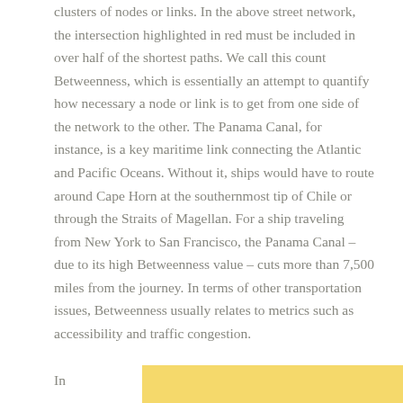clusters of nodes or links.  In the above street network, the intersection highlighted in red must be included in over half of the shortest paths.  We call this count Betweenness, which is essentially an attempt to quantify how necessary a node or link is to get from one side of the network to the other.  The Panama Canal, for instance, is a key maritime link connecting the Atlantic and Pacific Oceans.  Without it, ships would have to route around Cape Horn at the southernmost tip of Chile or through the Straits of Magellan.  For a ship traveling from New York to San Francisco, the Panama Canal – due to its high Betweenness value – cuts more than 7,500 miles from the journey.  In terms of other transportation issues, Betweenness usually relates to metrics such as accessibility and traffic congestion.
In
[Figure (other): Yellow/gold colored rectangle box at the bottom right of the page]